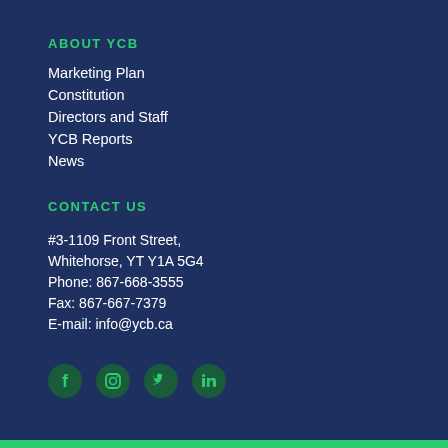ABOUT YCB
Marketing Plan
Constitution
Directors and Staff
YCB Reports
News
CONTACT US
#3-1109 Front Street,
Whitehorse, YT Y1A 5G4
Phone: 867-668-3555
Fax: 867-667-7379
E-mail: info@ycb.ca
[Figure (infographic): Social media icons: Facebook, Instagram, Twitter, LinkedIn — rendered in dark green circles]